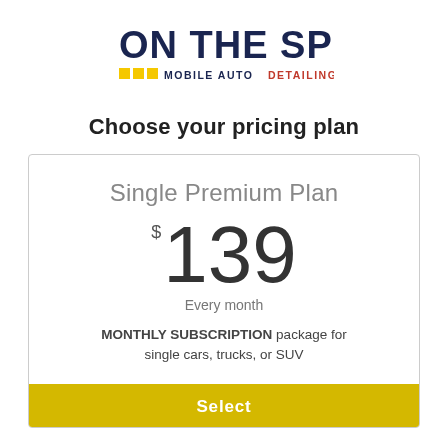[Figure (logo): On The Spot Mobile Auto Detailing logo — bold dark blue block letters 'ON THE SPOT' with yellow squares and subtitle 'MOBILE AUTO' in dark blue and 'DETAILING' in red/orange, all caps]
Choose your pricing plan
Single Premium Plan
$139
Every month
MONTHLY SUBSCRIPTION package for single cars, trucks, or SUV
Select